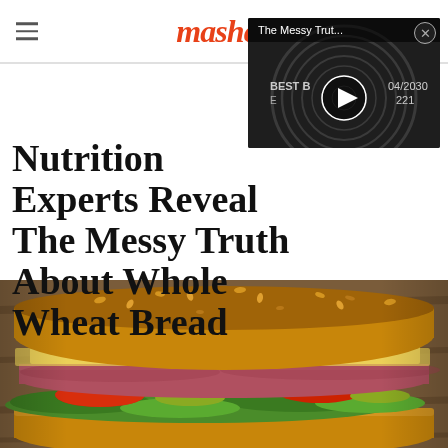mashed
[Figure (screenshot): Video thumbnail overlay showing a can lid with text 'The Messy Trut...' and 'BEST B... 04/2030 E... 221' with a play button]
Nutrition Experts Reveal The Messy Truth About Whole Wheat Bread
[Figure (photo): Close-up photo of a whole wheat bread sandwich with ham, cheese, tomato, lettuce, and other fillings on a wooden cutting board]